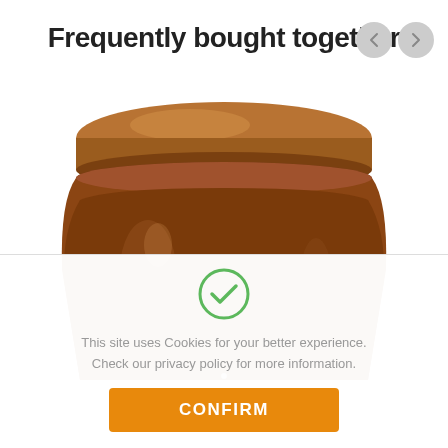Frequently bought together
[Figure (photo): Top portion of a glass jar filled with brown spread (chocolate or caramel), with a bronze/copper metallic screw-on lid, on a white background.]
[Figure (illustration): Green circle checkmark icon indicating acceptance/confirmation.]
This site uses Cookies for your better experience. Check our privacy policy for more information.
CONFIRM